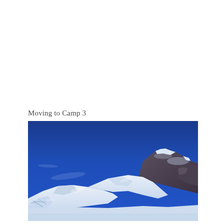Moving to Camp 3
[Figure (photo): Photograph of a snow-covered mountain landscape under a deep blue sky. The lower portion shows glacial terrain with snow and ice formations. The upper right shows rocky mountain peaks partially covered in snow and clouds. The sky dominates the upper two-thirds of the image with a vivid, deep blue color.]